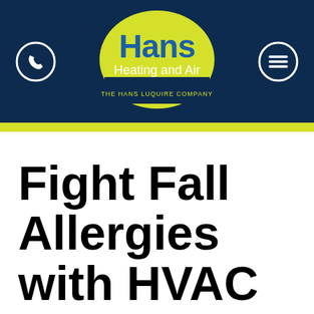[Figure (logo): Hans Heating and Air logo with yellow semicircle background, company name in blue text, and tagline 'THE HANS LUQUIRE COMPANY']
Fight Fall Allergies with HVAC & IAQ